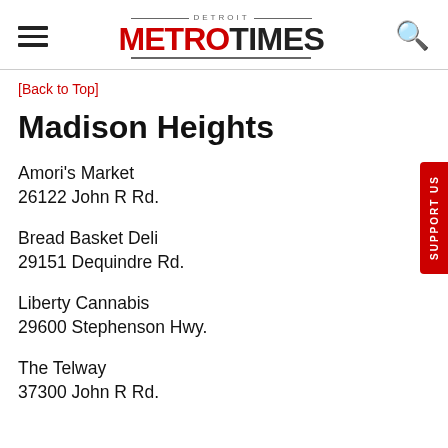Detroit Metro Times
[Back to Top]
Madison Heights
Amori's Market
26122 John R Rd.
Bread Basket Deli
29151 Dequindre Rd.
Liberty Cannabis
29600 Stephenson Hwy.
The Telway
37300 John R Rd.